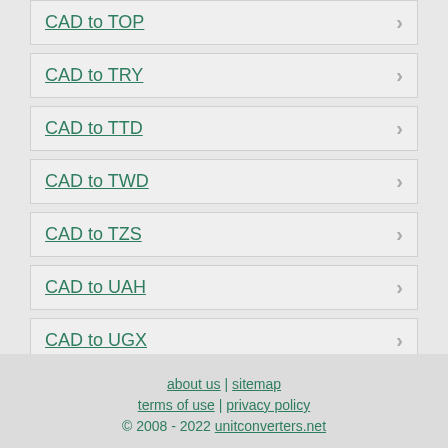CAD to TOP
CAD to TRY
CAD to TTD
CAD to TWD
CAD to TZS
CAD to UAH
CAD to UGX
CAD to UYU
CAD to UZS
about us | sitemap
terms of use | privacy policy
© 2008 - 2022 unitconverters.net